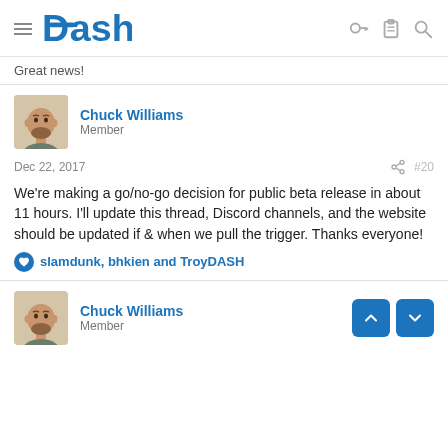Dash
Great news!
Chuck Williams
Member
Dec 22, 2017  #20
We're making a go/no-go decision for public beta release in about 11 hours. I'll update this thread, Discord channels, and the website should be updated if & when we pull the trigger. Thanks everyone!
slamdunk, bhkien and TroyDASH
Chuck Williams
Member